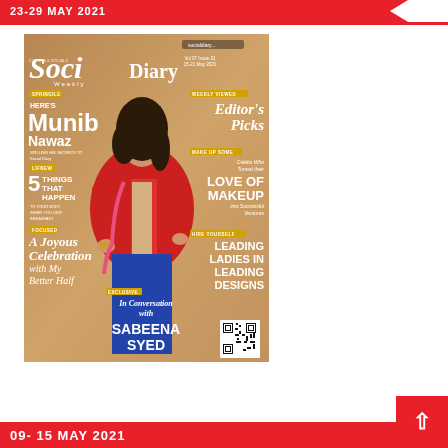23-29 MAY 2021
[Figure (photo): Social Diary magazine cover featuring a woman in a red outfit seated, with text overlays including 'Here's Munib Nawaz', '5 Things That Happen To Your Body When You Stop Breakfast', 'A Joyous Celebration with My Better Half', 'Editor's Picks', 'Love of Makeup', 'Leading Ladies in Leading Designs', 'In Conversation with Sabeena Syed', and a QR code]
09-15 MAY 2021